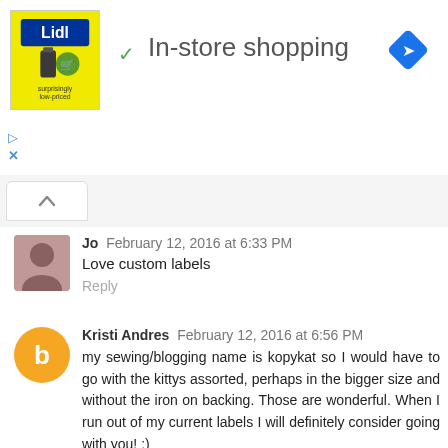[Figure (screenshot): Lidl advertisement banner with green checkmark and 'In-store shopping' text, with a blue navigation icon on the right]
[Figure (screenshot): Tab navigation area with an up-arrow/chevron button]
Jo  February 12, 2016 at 6:33 PM
Love custom labels
Reply
Kristi Andres  February 12, 2016 at 6:56 PM
my sewing/blogging name is kopykat so I would have to go with the kittys assorted, perhaps in the bigger size and without the iron on backing. Those are wonderful. When I run out of my current labels I will definitely consider going with you! :)
Reply